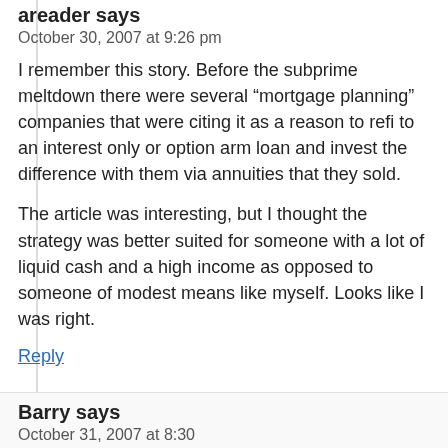areader says
October 30, 2007 at 9:26 pm
I remember this story. Before the subprime meltdown there were several “mortgage planning” companies that were citing it as a reason to refi to an interest only or option arm loan and invest the difference with them via annuities that they sold.
The article was interesting, but I thought the strategy was better suited for someone with a lot of liquid cash and a high income as opposed to someone of modest means like myself. Looks like I was right.
Reply
Barry says
October 31, 2007 at 8:30